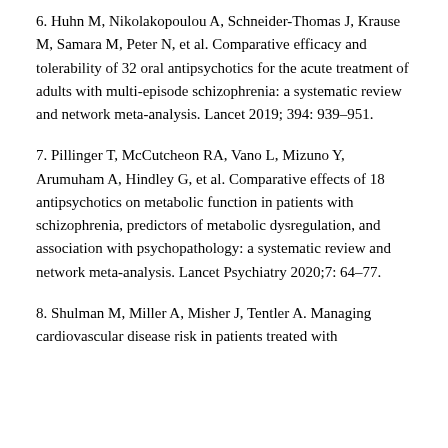6. Huhn M, Nikolakopoulou A, Schneider-Thomas J, Krause M, Samara M, Peter N, et al. Comparative efficacy and tolerability of 32 oral antipsychotics for the acute treatment of adults with multi-episode schizophrenia: a systematic review and network meta-analysis. Lancet 2019; 394: 939–951.
7. Pillinger T, McCutcheon RA, Vano L, Mizuno Y, Arumuham A, Hindley G, et al. Comparative effects of 18 antipsychotics on metabolic function in patients with schizophrenia, predictors of metabolic dysregulation, and association with psychopathology: a systematic review and network meta-analysis. Lancet Psychiatry 2020;7: 64–77.
8. Shulman M, Miller A, Misher J, Tentler A. Managing cardiovascular disease risk in patients treated with